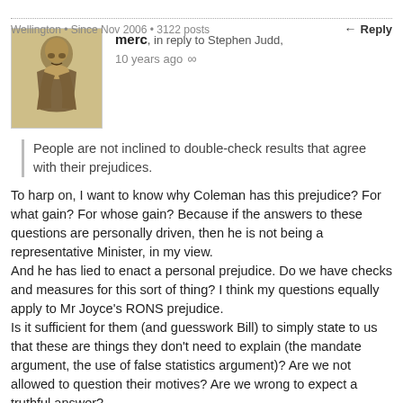Wellington • Since Nov 2006 • 3122 posts
Reply
merc, in reply to Stephen Judd, 10 years ago ∞
People are not inclined to double-check results that agree with their prejudices.
To harp on, I want to know why Coleman has this prejudice? For what gain? For whose gain? Because if the answers to these questions are personally driven, then he is not being a representative Minister, in my view.
And he has lied to enact a personal prejudice. Do we have checks and measures for this sort of thing? I think my questions equally apply to Mr Joyce's RONS prejudice.
Is it sufficient for them (and guesswork Bill) to simply state to us that these are things they don't need to explain (the mandate argument, the use of false statistics argument)? Are we not allowed to question their motives? Are we wrong to expect a truthful answer?